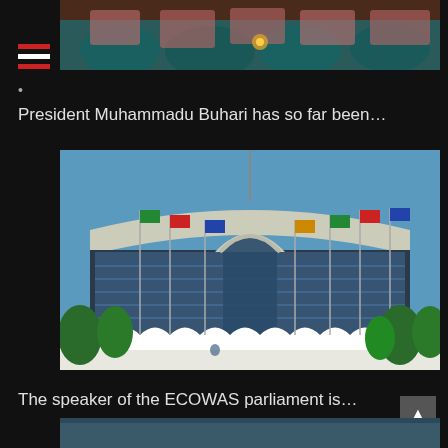[Figure (photo): Top portion of a photo showing conference/meeting room chairs with teal fabric and brown wooden elements, partially cropped]
•
President Muhammadu Buhari has so far been…
[Figure (photo): Photo of the ECOWAS parliament building — a large modern curved glass-fronted building with white arched decorative elements, flags on poles in front, and trees surrounding it, under a blue sky]
The speaker of the ECOWAS parliament is…